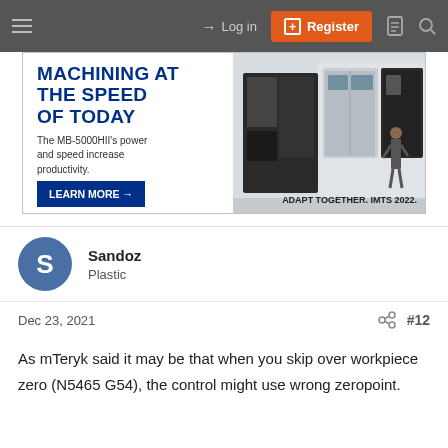Log in | Register
[Figure (screenshot): Advertisement banner for Okuma MB-5000HII CNC machining center. Headline: MACHINING AT THE SPEED OF TODAY. Subtext: The MB-5000HII's power and speed increase productivity. Button: LEARN MORE. Tagline: ADAPT TOGETHER. IMTS 2022.]
Sandoz
Plastic
Dec 23, 2021  #12
As mTeryk said it may be that when you skip over workpiece zero (N5465 G54), the control might use wrong zeropoint.